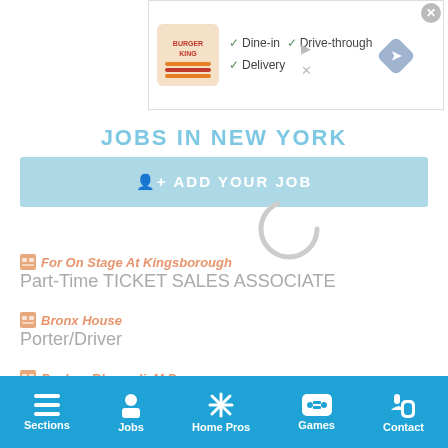[Figure (screenshot): Burger King advertisement banner showing logo with checkmarks for Dine-in, Drive-through, and Delivery options, and a navigation/map icon]
JOBS IN NEW YORK
ADD YOUR JOB
For On Stage At Kingsborough — Part-Time TICKET SALES ASSOCIATE
Bronx House — Porter/Driver
Pushpa Bhansali, M.D. — Front Desk/ Surgical Coordinator
Sections | Jobs | Home Pros | Games | Contact